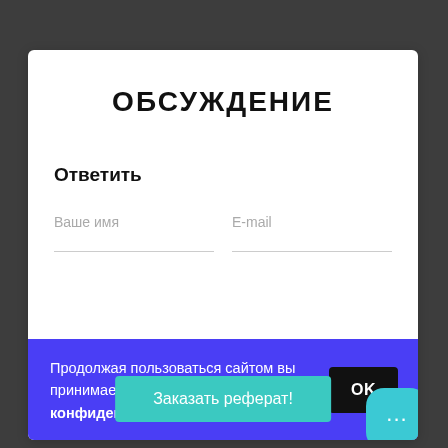ОБСУЖДЕНИЕ
Ответить
Ваше имя
E-mail
Продолжая пользоваться сайтом вы принимаете условия политики конфиденциальности
OK
Заказать реферат!